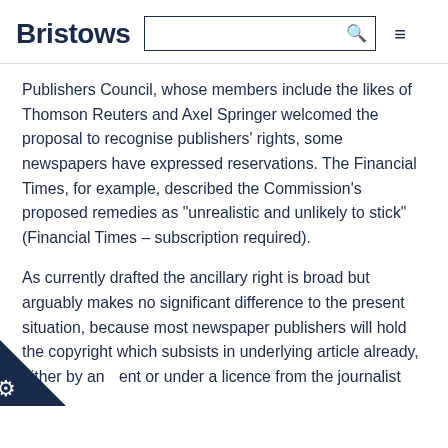Bristows
Publishers Council, whose members include the likes of Thomson Reuters and Axel Springer welcomed the proposal to recognise publishers' rights, some newspapers have expressed reservations. The Financial Times, for example, described the Commission's proposed remedies as "unrealistic and unlikely to stick" (Financial Times – subscription required).
As currently drafted the ancillary right is broad but arguably makes no significant difference to the present situation, because most newspaper publishers will hold the copyright which subsists in underlying article already, either by an ent or under a licence from the journalist